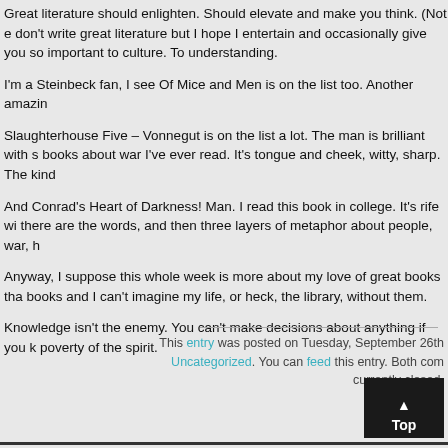Great literature should enlighten. Should elevate and make you think. (Not e don't write great literature but I hope I entertain and occasionally give you so important to culture. To understanding.
I'm a Steinbeck fan, I see Of Mice and Men is on the list too. Another amazin
Slaughterhouse Five – Vonnegut is on the list a lot. The man is brilliant with s books about war I've ever read. It's tongue and cheek, witty, sharp. The kind
And Conrad's Heart of Darkness! Man. I read this book in college. It's rife wi there are the words, and then three layers of metaphor about people, war, h
Anyway, I suppose this whole week is more about my love of great books tha books and I can't imagine my life, or heck, the library, without them.
Knowledge isn't the enemy. You can't make decisions about anything if you k poverty of the spirit.
This entry was posted on Tuesday, September 26th Uncategorized. You can feed this entry. Both com currently closed.